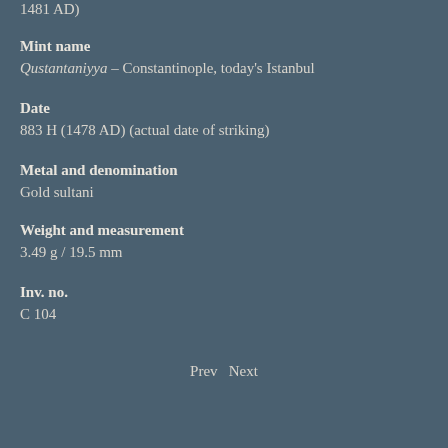1481 AD)
Mint name
Qustantaniyya – Constantinople, today's Istanbul
Date
883 H (1478 AD) (actual date of striking)
Metal and denomination
Gold sultani
Weight and measurement
3.49 g / 19.5 mm
Inv. no.
C 104
Prev   Next